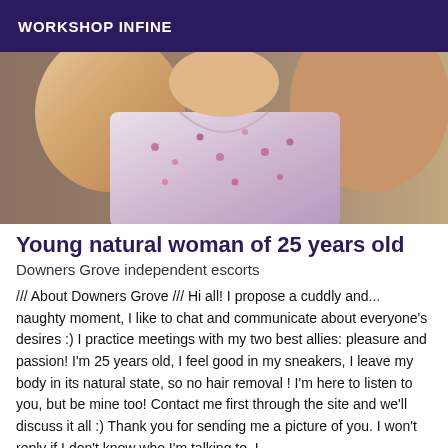WORKSHOP INFINE
[Figure (photo): Close-up photo of a young woman wearing a floral/patterned sleeveless top, cropped to show neck and torso area]
Young natural woman of 25 years old
Downers Grove independent escorts
/// About Downers Grove /// Hi all! I propose a cuddly and... naughty moment, I like to chat and communicate about everyone's desires :) I practice meetings with my two best allies: pleasure and passion! I'm 25 years old, I feel good in my sneakers, I leave my body in its natural state, so no hair removal ! I'm here to listen to you, but be mine too! Contact me first through the site and we'll discuss it all :) Thank you for sending me a picture of you. I won't reply if I don't know who I'm talking to. I